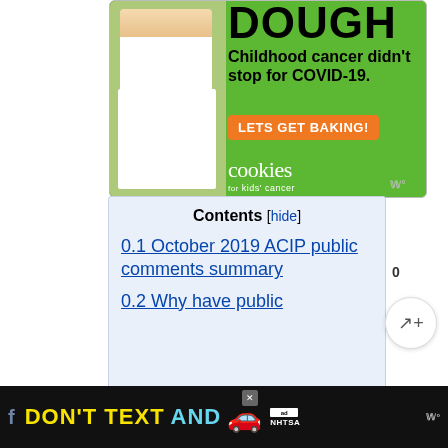[Figure (photo): Advertisement banner for 'Cookies for Kids Cancer' featuring a girl holding a jar of money with text 'DOUGH - Childhood cancer didn't stop for COVID-19. LETS GET BAKING!' on a green background]
Contents [hide]
0.1 October 2019 ACIP public comments summary
0.2 Why have public
[Figure (infographic): Bottom advertisement bar: 'DON'T TEXT AND [car emoji]' with NHTSA ad badge on black background]